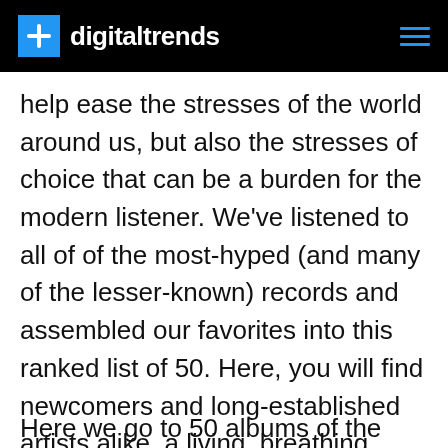digitaltrends
help ease the stresses of the world around us, but also the stresses of choice that can be a burden for the modern listener. We've listened to all of of the most-hyped (and many of the lesser-known) records and assembled our favorites into this ranked list of 50. Here, you will find newcomers and long-established artists alike, a living, breathing portrait of some of the most exciting sounds being made today.
Here we go to 50 albums of the year f...